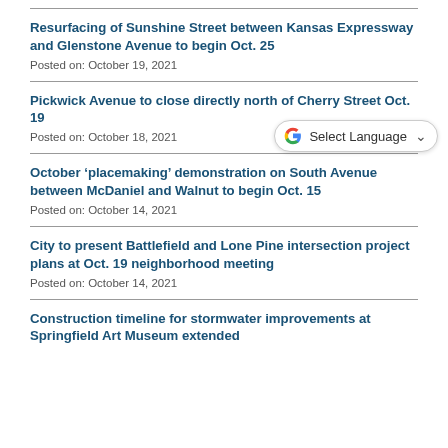Resurfacing of Sunshine Street between Kansas Expressway and Glenstone Avenue to begin Oct. 25
Posted on: October 19, 2021
Pickwick Avenue to close directly north of Cherry Street Oct. 19
Posted on: October 18, 2021
October ‘placemaking’ demonstration on South Avenue between McDaniel and Walnut to begin Oct. 15
Posted on: October 14, 2021
City to present Battlefield and Lone Pine intersection project plans at Oct. 19 neighborhood meeting
Posted on: October 14, 2021
Construction timeline for stormwater improvements at Springfield Art Museum extended